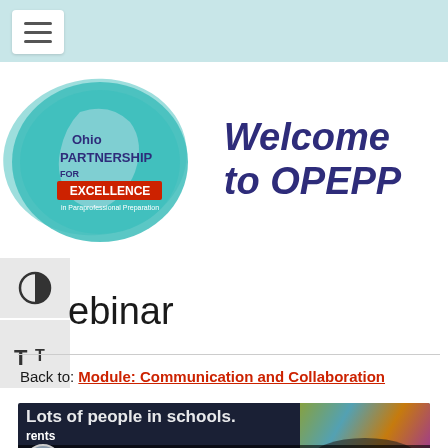Navigation menu bar with hamburger icon
[Figure (logo): Ohio Partnership for Excellence in Paraprofessional Preparation (OPEPP) logo with teal brushstroke background]
Welcome to OPEPP
Webinar
Back to: Module: Communication and Collaboration
[Figure (screenshot): Video thumbnail showing Communication and Collaboration webinar with text 'Lots of people in schools.' and video controls]